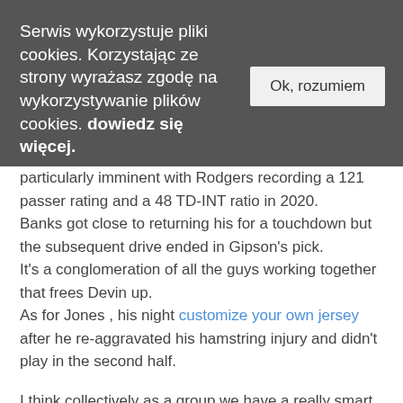Serwis wykorzystuje pliki cookies. Korzystając ze strony wyrażasz zgodę na wykorzystywanie plików cookies. dowiedz się więcej.
particularly imminent with Rodgers recording a 121 passer rating and a 48 TD-INT ratio in 2020. Banks got close to returning his for a touchdown but the subsequent drive ended in Gipson's pick. It's a conglomeration of all the guys working together that frees Devin up. As for Jones , his night customize your own jersey after he re-aggravated his hamstring injury and didn't play in the second half.

I think collectively as a group we have a really smart group of guys, smart players, and that's a big part of it. In the 2017 NFL Draft, Licht selected six players, with three stepping into starting roles as rookies. In season transitions are rough, thus, my 2nd question: